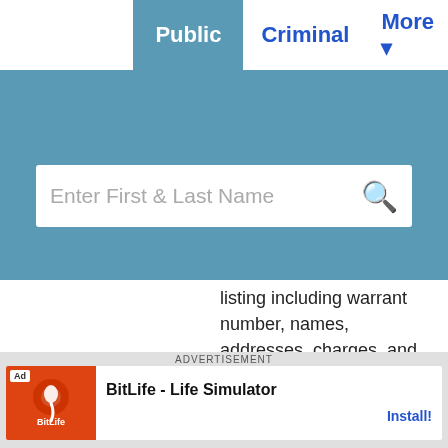Public  Criminal  More
Enter First & Last Name
listing including warrant number, names, addresses, charges, and bond information.
Government Jobs
View Fall River County government job openings and download an employment application.
Birth, Death and Marriage Records
View information about obtaining Fall River County birth, death and marriage records.
ADVERTISEMENT
BitLife - Life Simulator  Install!